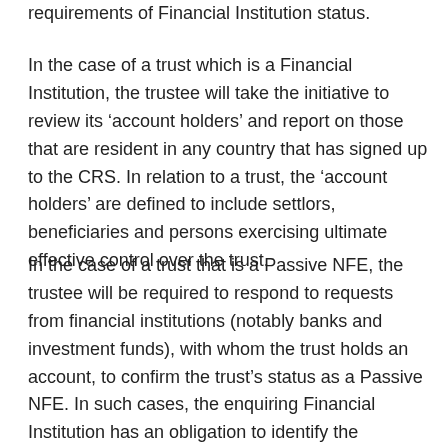requirements of Financial Institution status.
In the case of a trust which is a Financial Institution, the trustee will take the initiative to review its ‘account holders’ and report on those that are resident in any country that has signed up to the CRS. In relation to a trust, the ‘account holders’ are defined to include settlors, beneficiaries and persons exercising ultimate effective control over the trust.
In the case of a trust that is a Passive NFE, the trustee will be required to respond to requests from financial institutions (notably banks and investment funds), with whom the trust holds an account, to confirm the trust’s status as a Passive NFE. In such cases, the enquiring Financial Institution has an obligation to identify the ‘Controlling Persons’ of the Passive